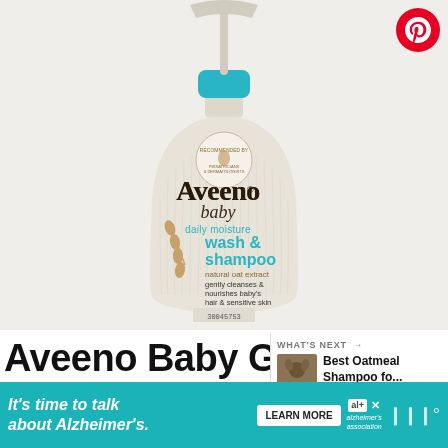[Figure (photo): Aveeno Baby daily moisture wash & shampoo product bottle with pump dispenser, teal cap, cream-colored ribbed body with oat branch illustration, on white background. Pinterest button top-right. Heart and share buttons on right side.]
Aveeno Baby Gentle W... & Shampoo
[Figure (photo): Small thumbnail of a dog next to 'WHAT'S NEXT — Best Oatmeal Shampoo fo...' text]
WHAT'S NEXT → Best Oatmeal Shampoo fo...
[Figure (screenshot): Ad banner: It's time to talk about Alzheimer's. LEARN MORE button. Alzheimer's Association logo.]